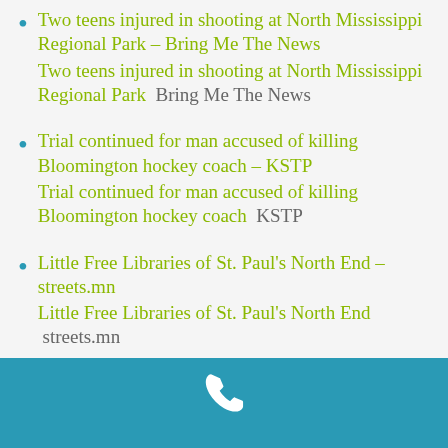Two teens injured in shooting at North Mississippi Regional Park – Bring Me The News
Two teens injured in shooting at North Mississippi Regional Park  Bring Me The News
Trial continued for man accused of killing Bloomington hockey coach – KSTP
Trial continued for man accused of killing Bloomington hockey coach  KSTP
Little Free Libraries of St. Paul's North End – streets.mn
Little Free Libraries of St. Paul's North End  streets.mn
[Figure (illustration): Teal/blue footer bar with a white phone handset icon centered at the top]